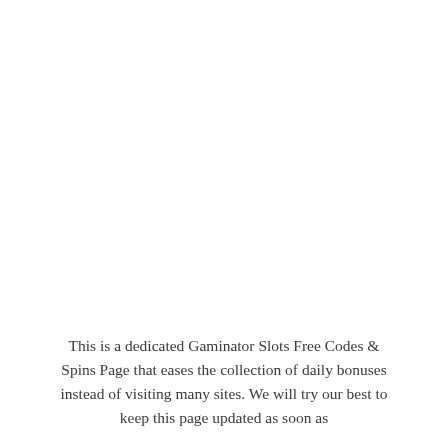This is a dedicated Gaminator Slots Free Codes & Spins Page that eases the collection of daily bonuses instead of visiting many sites. We will try our best to keep this page updated as soon as